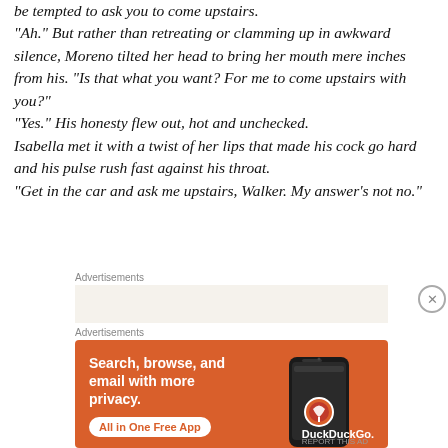be tempted to ask you to come upstairs. “Ah.” But rather than retreating or clamming up in awkward silence, Moreno tilted her head to bring her mouth mere inches from his. “Is that what you want? For me to come upstairs with you?” “Yes.” His honesty flew out, hot and unchecked. Isabella met it with a twist of her lips that made his cock go hard and his pulse rush fast against his throat. “Get in the car and ask me upstairs, Walker. My answer’s not no.”
Advertisements
[Figure (other): Beige advertisement placeholder box]
Advertisements
[Figure (other): DuckDuckGo advertisement: orange background with phone graphic. Text: Search, browse, and email with more privacy. All in One Free App. DuckDuckGo.]